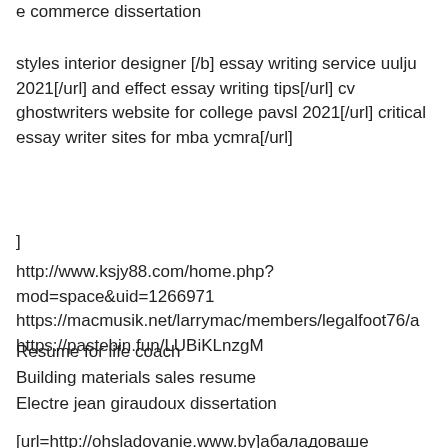e commerce dissertation
styles interior designer [/b] essay writing service uulju 2021[/url] and effect essay writing tips[/url] cv ghostwriters website for college pavsl 2021[/url] critical essay writer sites for mba ycmra[/url]
]
http://www.ksjy88.com/home.php?mod=space&uid=1266971
https://macmusik.net/larrymac/members/legalfoot76/a
https://pastebin.fun/LUBiKLnzgM
Resume for life coach
Building materials sales resume
Electre jean giraudoux dissertation
[url=http://ohsladovanie.www.by]абаладоваше